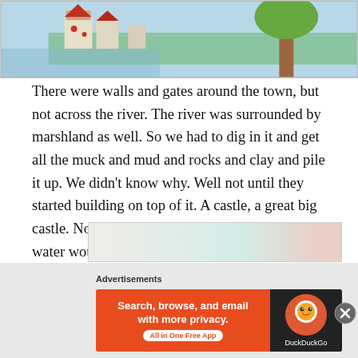[Figure (illustration): Top portion of a child's drawing showing a town with buildings and a tree near water, partially cropped]
There were walls and gates around the town, but not across the river. The river was surrounded by marshland as well. So we had to dig in it and get all the muck and mud and rocks and clay and pile it up. We didn't know why. Well not until they started building on top of it. A castle, a great big castle. Now there was water all around it. That water would become known as Kings Fishpond in later years.
[Figure (illustration): Bottom portion of another child's drawing, partially visible]
Advertisements
[Figure (screenshot): DuckDuckGo advertisement banner: Search, browse, and email with more privacy. All in One Free App]